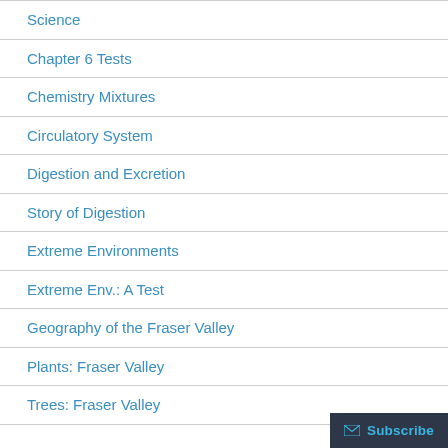Science
Chapter 6 Tests
Chemistry Mixtures
Circulatory System
Digestion and Excretion
Story of Digestion
Extreme Environments
Extreme Env.: A Test
Geography of the Fraser Valley
Plants: Fraser Valley
Trees: Fraser Valley